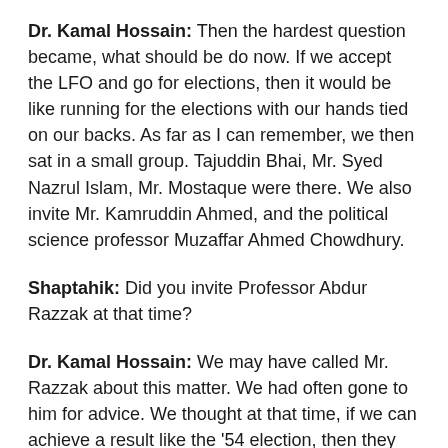Dr. Kamal Hossain: Then the hardest question became, what should be do now. If we accept the LFO and go for elections, then it would be like running for the elections with our hands tied on our backs. As far as I can remember, we then sat in a small group. Tajuddin Bhai, Mr. Syed Nazrul Islam, Mr. Mostaque were there. We also invite Mr. Kamruddin Ahmed, and the political science professor Muzaffar Ahmed Chowdhury.
Shaptahik: Did you invite Professor Abdur Razzak at that time?
Dr. Kamal Hossain: We may have called Mr. Razzak about this matter. We had often gone to him for advice. We thought at that time, if we can achieve a result like the '54 election, then they would not be able to stand in front of us. They could not deny the results. This type of decision was arrived at. In reality we had to take a big risk.